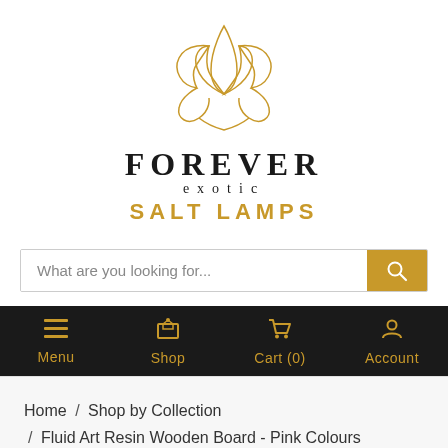[Figure (logo): Forever Exotic Salt Lamps logo with golden lotus flower SVG illustration above the brand name text]
What are you looking for...
Menu   Shop   Cart (0)   Account
Home / Shop by Collection / Fluid Art Resin Wooden Board - Pink Colours